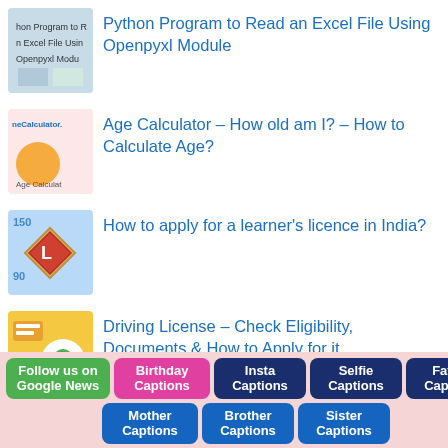Python Program to Read an Excel File Using Openpyxl Module
Age Calculator – How old am I? – How to Calculate Age?
How to apply for a learner's licence in India?
Driving License – Check Eligibility, Documents & How to Apply for it
[Figure (other): Bottom navigation bar with buttons: Follow us on Google News, Birthday Captions, Insta Captions, Selfie Captions, Father Captions, Mother Captions, Brother Captions, Sister Captions]